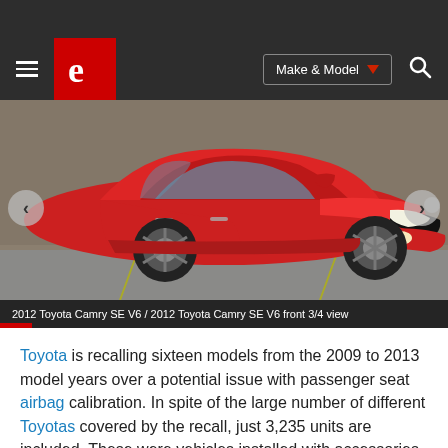[Figure (screenshot): Website navigation bar with hamburger menu, red Edmunds logo, Make & Model dropdown button, and search icon on dark background]
[Figure (photo): 2012 Toyota Camry SE V6 in red, front 3/4 view, parked in a lot. Navigation arrows visible on left and right sides.]
2012 Toyota Camry SE V6 /  2012 Toyota Camry SE V6 front 3/4 view
Toyota is recalling sixteen models from the 2009 to 2013 model years over a potential issue with passenger seat airbag calibration. In spite of the large number of different Toyotas covered by the recall, just 3,235 units are included. These were vehicles installed with accessories